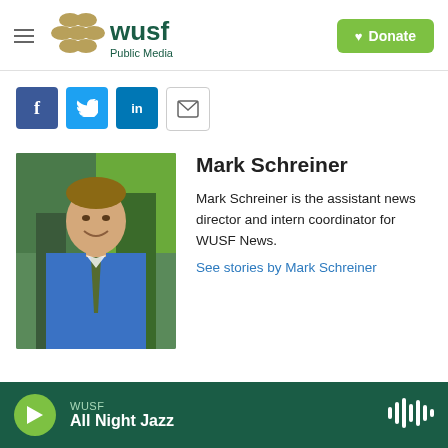[Figure (logo): WUSF Public Media logo with hamburger menu icon]
[Figure (infographic): Social sharing icons: Facebook, Twitter, LinkedIn, Email]
[Figure (photo): Headshot of Mark Schreiner in blue shirt and tie outdoors]
Mark Schreiner
Mark Schreiner is the assistant news director and intern coordinator for WUSF News.
See stories by Mark Schreiner
WUSF All Night Jazz